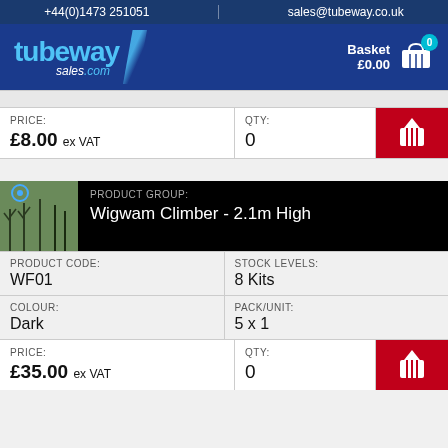+44(0)1473 251051   sales@tubeway.co.uk
[Figure (logo): Tubeway Sales logo with basket showing £0.00 and 0 items]
| PRICE: | QTY: |  |
| --- | --- | --- |
| £8.00 ex VAT | 0 | [basket icon] |
[Figure (photo): Product thumbnail showing wigwam climber garden product]
PRODUCT GROUP: Wigwam Climber - 2.1m High
| PRODUCT CODE: | STOCK LEVELS: |
| --- | --- |
| WF01 | 8 Kits |
| COLOUR: | PACK/UNIT: |
| --- | --- |
| Dark | 5 x 1 |
| PRICE: | QTY: |  |
| --- | --- | --- |
| £35.00 ex VAT | 0 | [basket icon] |